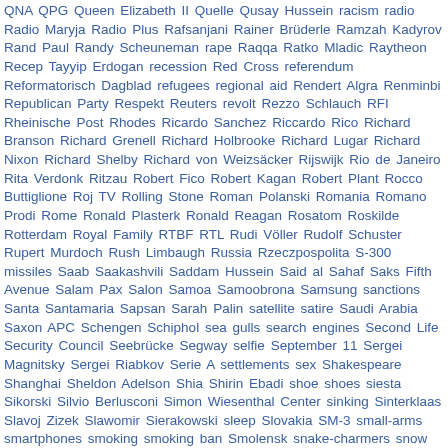QNA QPG Queen Elizabeth II Quelle Qusay Hussein racism radio Radio Maryja Radio Plus Rafsanjani Rainer Brüderle Ramzah Kadyrov Rand Paul Randy Scheuneman rape Raqqa Ratko Mladic Raytheon Recep Tayyip Erdogan recession Red Cross referendum Reformatorisch Dagblad refugees regional aid Rendert Algra Renminbi Republican Party Respekt Reuters revolt Rezzo Schlauch RFI Rheinische Post Rhodes Ricardo Sanchez Riccardo Rico Richard Branson Richard Grenell Richard Holbrooke Richard Lugar Richard Nixon Richard Shelby Richard von Weizsäcker Rijswijk Rio de Janeiro Rita Verdonk Ritzau Robert Fico Robert Kagan Robert Plant Rocco Buttiglione Roj TV Rolling Stone Roman Polanski Romania Romano Prodi Rome Ronald Plasterk Ronald Reagan Rosatom Roskilde Rotterdam Royal Family RTBF RTL Rudi Völler Rudolf Schuster Rupert Murdoch Rush Limbaugh Russia Rzeczpospolita S-300 missiles Saab Saakashvili Saddam Hussein Said al Sahaf Saks Fifth Avenue Salam Pax Salon Samoa Samoobrona Samsung sanctions Santa Santamaria Sapsan Sarah Palin satellite satire Saudi Arabia Saxon APC Schengen Schiphol sea gulls search engines Second Life Security Council Seebrücke Segway selfie September 11 Sergei Magnitsky Sergei Riabkov Serie A settlements sex Shakespeare Shanghai Sheldon Adelson Shia Shirin Ebadi shoe shoes siesta Sikorski Silvio Berlusconi Simon Wiesenthal Center sinking Sinterklaas Slavoj Zizek Slawomir Sierakowski sleep Slovakia SM-3 small-arms smartphones smoking smoking ban Smolensk snake-charmers snow Sochi Sochi2014 Socialist Party Soffin solar energy Solidarity Solyndra Somalia SOTU South Carolina South Korea South Ossetia South Sudan sovereign debt Soviet Union Space Cadet Spain Spanish Civil War SPD spectators speed-skating Spiderman SPLA sponsorship spying squatters St. Paul MN Stability Pact stag parties Stanford Stanislav Gross Star Trek Startas Stasi State aid state visit StB Stephen Hawking Stern Stockholm Stralsund street violence stress tests Styria Sudeten Germans summit sunlight Sunni Super Bowl surge